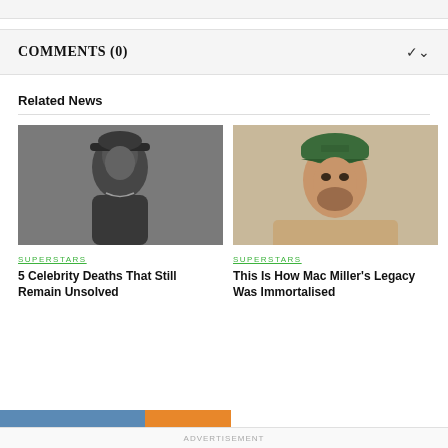COMMENTS (0)
Related News
[Figure (photo): Black and white portrait photo of Tupac Shakur wearing a hat]
SUPERSTARS
5 Celebrity Deaths That Still Remain Unsolved
[Figure (photo): Color portrait of Mac Miller wearing a green cap]
SUPERSTARS
This Is How Mac Miller's Legacy Was Immortalised
ADVERTISEMENT